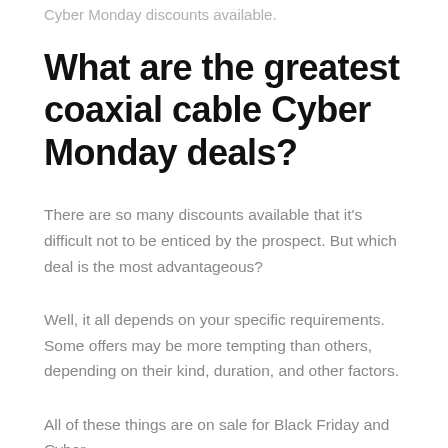Cyber Monday discounts available.
What are the greatest coaxial cable Cyber Monday deals?
There are so many discounts available that it's difficult not to be enticed by the prospect. But which deal is the most advantageous?
Well, it all depends on your specific requirements. Some offers may be more tempting than others, depending on their kind, duration, and other factors.
All of these things are on sale for Black Friday and Cyber